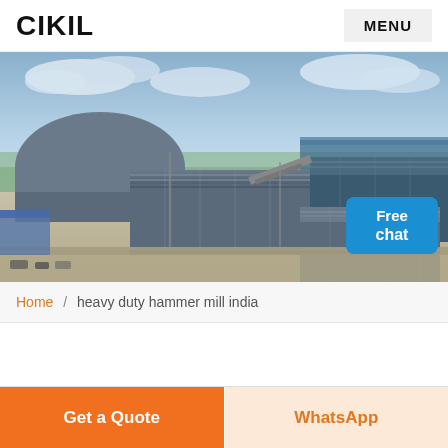CIKIL | MENU
[Figure (photo): Aerial view of an industrial complex with large factory buildings and warehouses, cloudy sky background. A 'Free chat' bubble is visible in the bottom right corner with a customer service representative.]
Home / heavy duty hammer mill india
Get a Quote
WhatsApp